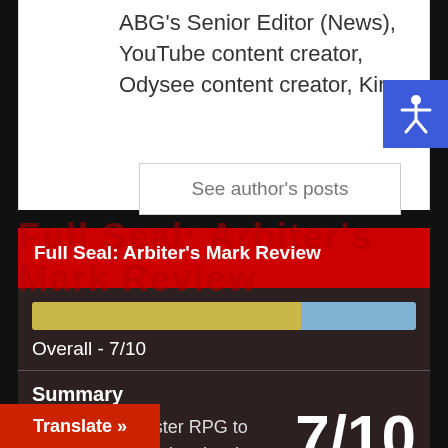ABG's Senior Editor (News), YouTube content creator, Odysee content creator, King
See author's posts
Full Seal: Arbiter's Mark Review
[Figure (other): Progress bar showing 7/10 score — yellow segment (~70%) and blue segment (~30%)]
Overall - 7/10
Summary
A difficult to master RPG to harkens back to the classics, be a demanding However, with the
7/10
Translate »